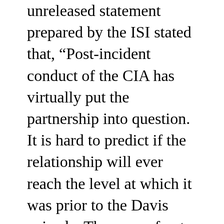unreleased statement prepared by the ISI stated that, “Post-incident conduct of the CIA has virtually put the partnership into question. It is hard to predict if the relationship will ever reach the level at which it was prior to the Davis episode. The onus of not stalling this relationship between the two agencies now squarely lies on the CIA.” The article points to